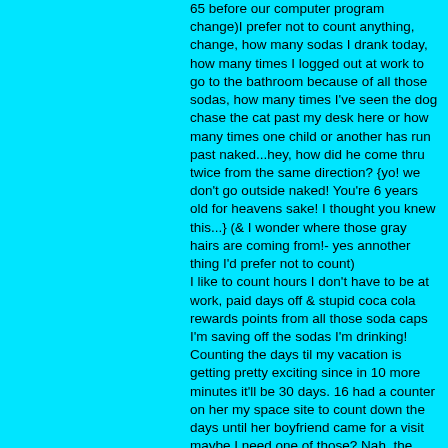65 before our computer program change)I prefer not to count anything, change, how many sodas I drank today, how many times I logged out at work to go to the bathroom because of all those sodas, how many times I've seen the dog chase the cat past my desk here or how many times one child or another has run past naked...hey, how did he come thru twice from the same direction? {yo! we don't go outside naked! You're 6 years old for heavens sake! I thought you knew this...} (& I wonder where those gray hairs are coming from!- yes annother thing I'd prefer not to count) I like to count hours I don't have to be at work, paid days off & stupid coca cola rewards points from all those soda caps I'm saving off the sodas I'm drinking! Counting the days til my vacation is getting pretty exciting since in 10 more minutes it'll be 30 days. 16 had a counter on her my space site to count down the days until her boyfriend came for a visit maybe I need one of those? Nah, the kids'll keep me